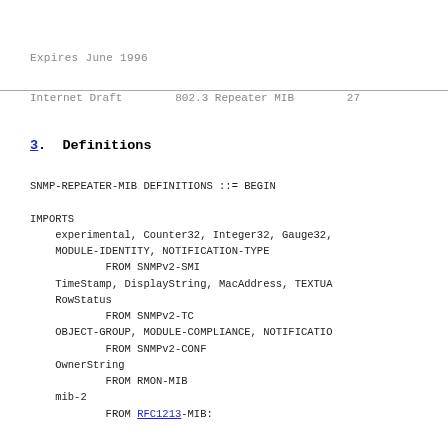Expires June 1996
Internet Draft        802.3 Repeater MIB        27
3.  Definitions
SNMP-REPEATER-MIB DEFINITIONS ::= BEGIN

IMPORTS
    experimental, Counter32, Integer32, Gauge32,
    MODULE-IDENTITY, NOTIFICATION-TYPE
            FROM SNMPv2-SMI
    TimeStamp, DisplayString, MacAddress, TEXTUA
    RowStatus
            FROM SNMPv2-TC
    OBJECT-GROUP, MODULE-COMPLIANCE, NOTIFICATIO
            FROM SNMPv2-CONF
    OwnerString
            FROM RMON-MIB
    mib-2
            FROM RFC1213-MIB;